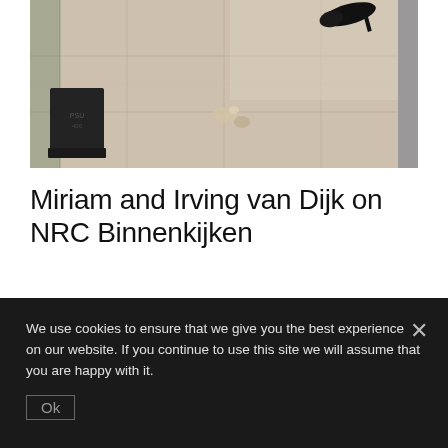[Figure (photo): Interior photo showing a light wood-tone tiled floor with scattered items, a dark pedestal object on the left, a glass panel on the left edge, and high-heel shoes in the upper right. A gray column is visible on the right edge.]
Miriam and Irving van Dijk on NRC Binnenkijken
Read more →
We use cookies to ensure that we give you the best experience on our website. If you continue to use this site we will assume that you are happy with it.
Ok